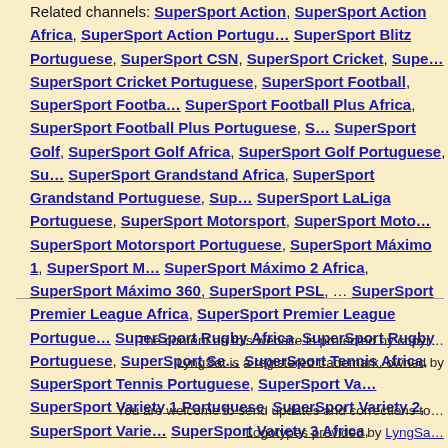Related channels: SuperSport Action, SuperSport Action Africa, SuperSport Action Portuguese, SuperSport Blitz Portuguese, SuperSport CSN, SuperSport Cricket, SuperSport Cricket Portuguese, SuperSport Football, SuperSport Football Africa, SuperSport Football Plus Africa, SuperSport Football Plus Portuguese, SuperSport Golf, SuperSport Golf Africa, SuperSport Golf Portuguese, SuperSport Grandstand Africa, SuperSport Grandstand Portuguese, SuperSport LaLiga Portuguese, SuperSport Motorsport, SuperSport Motorsport Portuguese, SuperSport Máximo 1, SuperSport Máximo 2 Africa, SuperSport Máximo 360, SuperSport PSL, SuperSport Premier League Africa, SuperSport Premier League Portuguese, SuperSport Rugby Africa, SuperSport Rugby Portuguese, SuperSport Tennis Africa, SuperSport Tennis Portuguese, SuperSport Variety 1 Portuguese, SuperSport Variety 2, SuperSport Variety 3 Africa, SuperSport Variety 3 Portuguese, SuperSport Variety 4 Portuguese, WWE Channel
The content on this website is protected by copyright. LyngSat is a registered trademark, owned by
You are welcome to send updates and corrections to. Logotypes provided by LyngSat